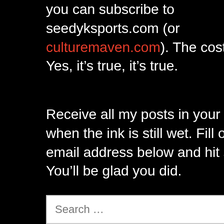you can subscribe to seedyksports.com (or culturemaven.com). The cost? It’s free. Yes, it’s true, it’s true.
Receive all my posts in your email box when the ink is still wet. Fill out your email address below and hit subscribe. You’ll be glad you did.
Email Address
Subscribe
Search …